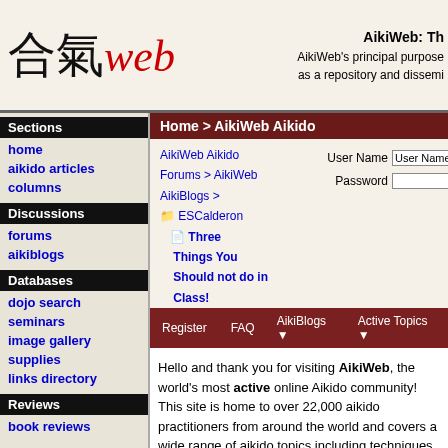AikiWeb: Th — AikiWeb's principal purpose as a repository and dissemi
Sections
home
aikido articles
columns
Discussions
forums
aikiblogs
Databases
dojo search
seminars
image gallery
supplies
links directory
Reviews
book reviews
Home > AikiWeb Aikido
AikiWeb Aikido Forums > AikiWeb AikiBlogs > ESCalderon
Three Things You Should not do in Class!
Register   FAQ   AikiBlogs ▼   Active Topics ▼
Hello and thank you for visiting AikiWeb, the world's most active online Aikido community! This site is home to over 22,000 aikido practitioners from around the world and covers a wide range of aikido topics including techniques, philosophy, history, humor, beginner issues, the marketplace, and more.
If you wish to join in the discussions or use the other advanced features available, you will need to register. Registration is absolutely free and takes only a few minutes to complete so sign up today!